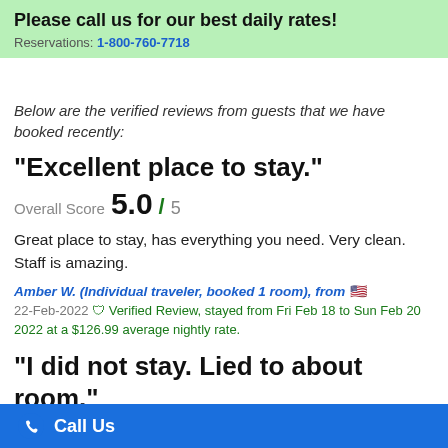Please call us for our best daily rates! Reservations: 1-800-760-7718
Below are the verified reviews from guests that we have booked recently:
"Excellent place to stay."
Overall Score 5.0 / 5
Great place to stay, has everything you need. Very clean. Staff is amazing.
Amber W. (Individual traveler, booked 1 room), from 🇺🇸
22-Feb-2022 ✔ Verified Review, stayed from Fri Feb 18 to Sun Feb 20 2022 at a $126.99 average nightly rate.
"I did not stay. Lied to about room."
Call Us